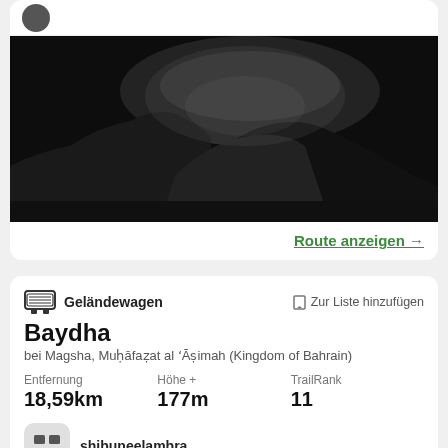[Figure (photo): Dark nighttime mountain silhouette landscape photo]
Route anzeigen →
Geländewagen
Zur Liste hinzufügen
Baydha
bei Magsha, Muḥāfaẓat al ʻĀṣimah (Kingdom of Bahrain)
| Entfernung | Höhe + | TrailRank |
| --- | --- | --- |
| 18,59km | 177m | 11 |
shibuneelambra